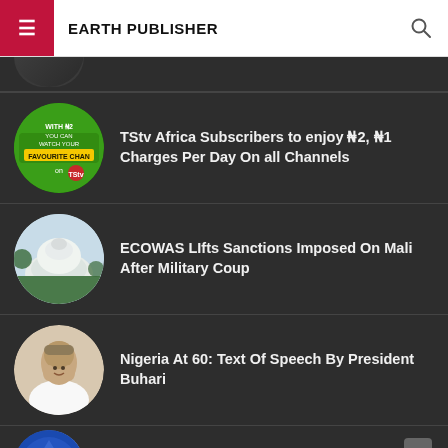EARTH PUBLISHER
[Figure (photo): Partial circular thumbnail of a person at the top of the news list, partially cut off]
TStv Africa Subscribers to enjoy ₦2, ₦1 Charges Per Day On all Channels
[Figure (photo): Circular thumbnail showing TStv Africa advertisement with green background and text 'WITH ₦2 YOU CAN WATCH YOUR FAVOURITE CHANNELS on TStv']
ECOWAS Lifts Sanctions Imposed On Mali After Military Coup
[Figure (photo): Circular thumbnail showing ECOWAS building with white dome structure and green trees]
Nigeria At 60: Text Of Speech By President Buhari
[Figure (photo): Circular thumbnail showing President Buhari raising hands, wearing white traditional attire]
[Figure (photo): Partial circular thumbnail at the bottom showing a blue circular image, partially cut off]